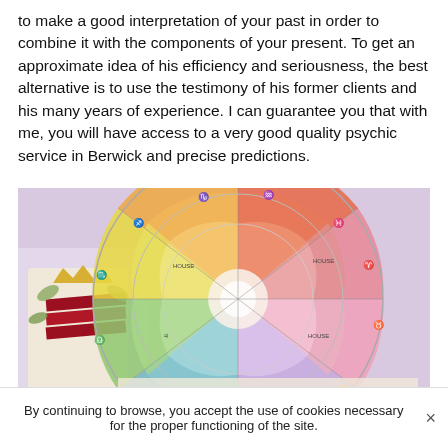to make a good interpretation of your past in order to combine it with the components of your present. To get an approximate idea of his efficiency and seriousness, the best alternative is to use the testimony of his former clients and his many years of experience. I can guarantee you that with me, you will have access to a very good quality psychic service in Berwick and precise predictions.
[Figure (photo): An astrological wheel chart with colorful segments (pink, yellow, green, blue, purple, teal) with zodiac symbols and text, alongside decorative illustrated cards with gold crowns and red ribbon, photographed on a table.]
By continuing to browse, you accept the use of cookies necessary for the proper functioning of the site.